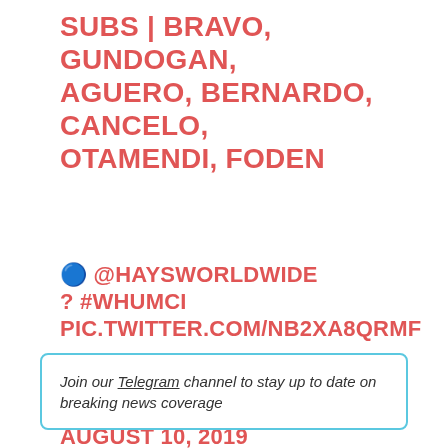SUBS | BRAVO, GUNDOGAN, AGUERO, BERNARDO, CANCELO, OTAMENDI, FODEN
🔵 @HAYSWORLDWIDE ? #WHUMCI PIC.TWITTER.COM/NB2XA8QRMF
— MANCHESTER CITY (@MANCITY) AUGUST 10, 2019
Join our Telegram channel to stay up to date on breaking news coverage